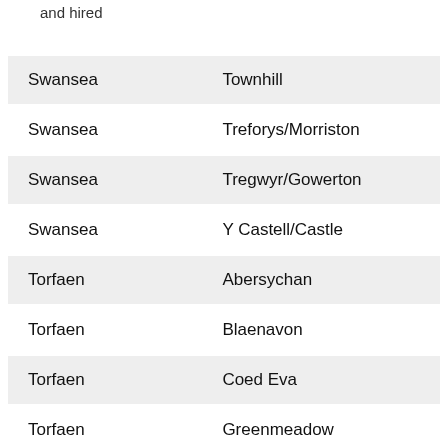and hired
| Swansea | Townhill |
| Swansea | Treforys/Morriston |
| Swansea | Tregwyr/Gowerton |
| Swansea | Y Castell/Castle |
| Torfaen | Abersychan |
| Torfaen | Blaenavon |
| Torfaen | Coed Eva |
| Torfaen | Greenmeadow |